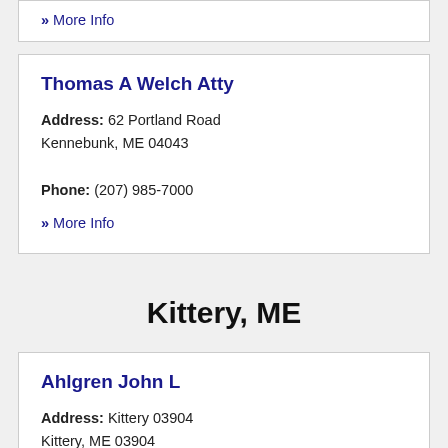» More Info
Thomas A Welch Atty
Address: 62 Portland Road
Kennebunk, ME 04043
Phone: (207) 985-7000
» More Info
Kittery, ME
Ahlgren John L
Address: Kittery 03904
Kittery, ME 03904